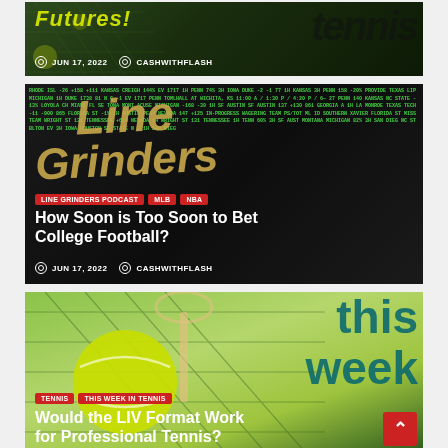[Figure (photo): Tennis racket and ball image with 'Futures' title and 'tennis' text overlay, dated JUN 17 2022, by CASHWITHFLASH]
[Figure (photo): Sports betting scoreboard/Line Grinders Podcast image with tags LINE GRINDERS PODCAST, MLB, NBA. Headline: How Soon is Too Soon to Bet College Football? JUN 17 2022 by CASHWITHFLASH]
[Figure (photo): Tennis background with 'this week' teal text. Tags: TENNIS, THIS WEEK IN TENNIS. Headline: Would the LIV Format Work for Professional Tennis? With scroll-to-top red button.]